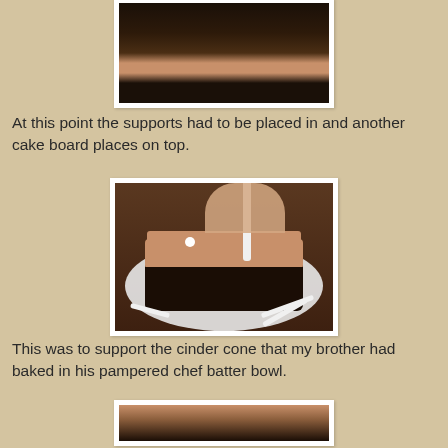[Figure (photo): Top portion of a chocolate cake with frosting between layers, viewed from above, on a white surface]
At this point the supports had to be placed in and another cake board places on top.
[Figure (photo): A hand inserting a white dowel support rod into a chocolate layer cake with light brown frosting on top, on a white plate, with several other white rods visible on the plate]
This was to support the cinder cone that my brother had baked in his pampered chef batter bowl.
[Figure (photo): Bottom portion of another cake photo visible at page bottom]